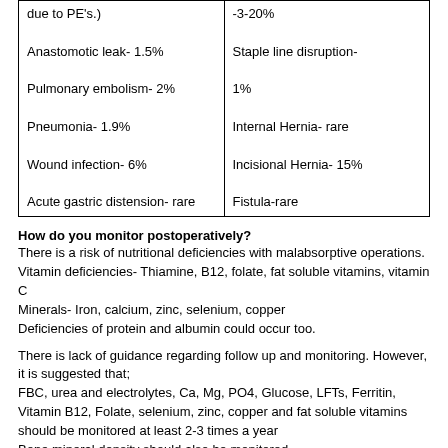|  |  |
| --- | --- |
| due to PE's.)

Anastomotic leak- 1.5%

Pulmonary embolism- 2%

Pneumonia- 1.9%

Wound infection- 6%

Acute gastric distension- rare | -3-20%

Staple line disruption-

1%

Internal Hernia- rare

Incisional Hernia- 15%

Fistula-rare |
How do you monitor postoperatively?
There is a risk of nutritional deficiencies with malabsorptive operations.
Vitamin deficiencies- Thiamine, B12, folate, fat soluble vitamins, vitamin C
Minerals- Iron, calcium, zinc, selenium, copper
Deficiencies of protein and albumin could occur too.
There is lack of guidance regarding follow up and monitoring. However, it is suggested that;
FBC, urea and electrolytes, Ca, Mg, PO4, Glucose, LFTs, Ferritin, Vitamin B12, Folate, selenium, zinc, copper and fat soluble vitamins should be monitored at least 2-3 times a year
Bone mineral density should also be monitored
Lifelong supplementation of multivitamin tablets (including Lap band patients)
Ref
NICE guidance